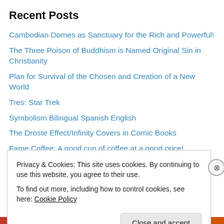Recent Posts
Cambodian Domes as Sanctuary for the Rich and Powerful!
The Three Poison of Buddhism is Named Original Sin in Christianity
Plan for Survival of the Chosen and Creation of a New World
Tres: Star Trek
Symbolism Bilingual Spanish English
The Droste Effect/Infinity Covers in Comic Books
Fame Coffee: A good cup of coffee at a good price!
Chongkran Sor
DC has Super Pride!
Foodies Review
Pro Coffee Offers Food!
The Department of Truth
Privacy & Cookies: This site uses cookies. By continuing to use this website, you agree to their use.
To find out more, including how to control cookies, see here: Cookie Policy
Close and accept